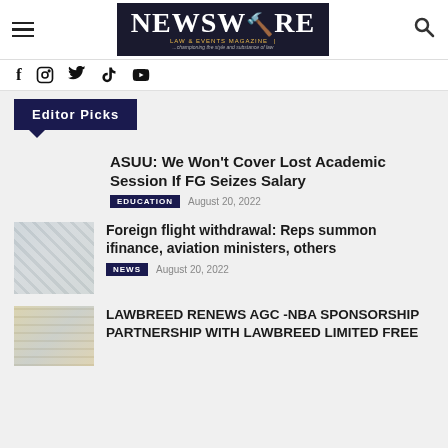NEWSWIRE LAW & EVENTS MAGAZINE | ...championing the style and substance of law
f  IG  Twitter  YouTube (social icons)
Editor Picks
ASUU: We Won't Cover Lost Academic Session If FG Seizes Salary
EDUCATION   August 20, 2022
Foreign flight withdrawal: Reps summon ifinance, aviation ministers, others
NEWS   August 20, 2022
LAWBREED RENEWS AGC -NBA SPONSORSHIP PARTNERSHIP WITH LAWBREED LIMITED FREE